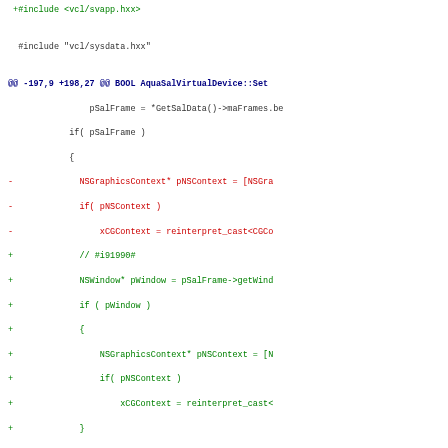Code diff showing changes to AquaSalVirtualDevice::Set function, including includes, hunk header, and added/removed lines for NSGraphicsContext and CGBitmapContext handling.